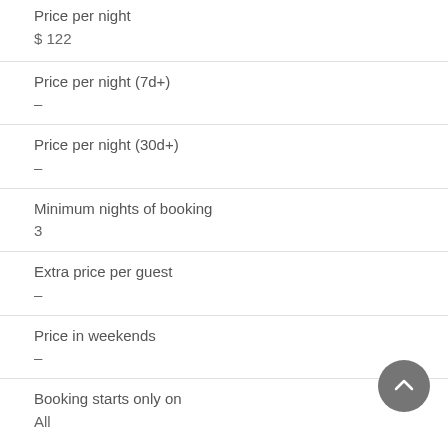Price per night
$ 122
Price per night (7d+)
–
Price per night (30d+)
–
Minimum nights of booking
3
Extra price per guest
–
Price in weekends
–
Booking starts only on
All